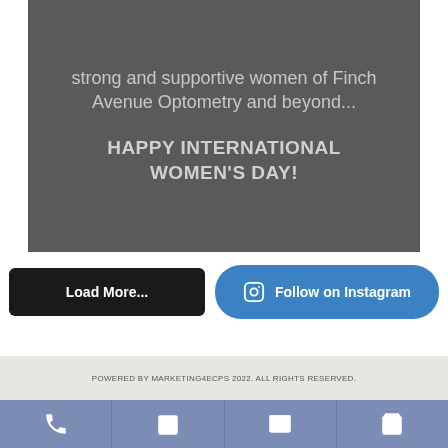[Figure (illustration): Gray background block with light gray text reading 'strong and supportive women of Finch Avenue Optometry and beyond...' followed by 'HAPPY INTERNATIONAL WOMEN'S DAY!' in larger bold text]
Load More...
Follow on Instagram
POWERED BY MARKETING4ECPS 2022. ALL RIGHTS RESERVED.
[Figure (infographic): Bottom navigation bar with four icon cells on blue-purple background: phone icon, calendar icon, envelope/email icon, shopping cart icon]